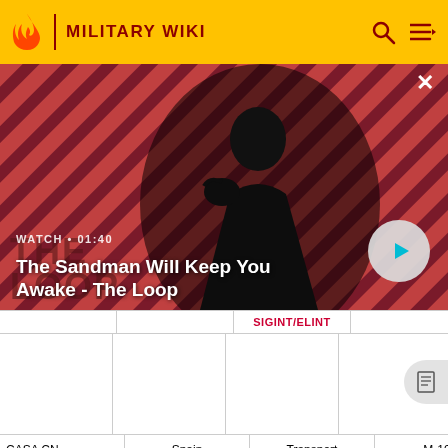MILITARY WIKI
[Figure (screenshot): Video thumbnail for 'The Sandman Will Keep You Awake - The Loop' showing a dark-cloaked figure with a raven on shoulder against a red striped background. Shows WATCH • 01:40 and a play button.]
WATCH • 01:40
The Sandman Will Keep You Awake - The Loop
|  |  | SIGINT/ELINT |  |  |
| --- | --- | --- | --- | --- |
|  |  |  |  |  |
| CASA CN-235 | Spain | Transport | M-10 | 4 |